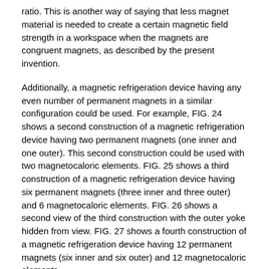ratio. This is another way of saying that less magnet material is needed to create a certain magnetic field strength in a workspace when the magnets are congruent magnets, as described by the present invention.
Additionally, a magnetic refrigeration device having any even number of permanent magnets in a similar configuration could be used. For example, FIG. 24 shows a second construction of a magnetic refrigeration device having two permanent magnets (one inner and one outer). This second construction could be used with two magnetocaloric elements. FIG. 25 shows a third construction of a magnetic refrigeration device having six permanent magnets (three inner and three outer) and 6 magnetocaloric elements. FIG. 26 shows a second view of the third construction with the outer yoke hidden from view. FIG. 27 shows a fourth construction of a magnetic refrigeration device having 12 permanent magnets (six inner and six outer) and 12 magnetocaloric elements.
Furthermore, the permanent magnet configurations of the present invention need not be limited to applications in magnetic refrigeration. Such magnet configurations may also be used in